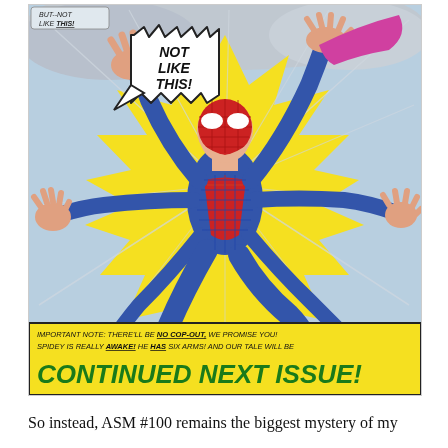[Figure (illustration): Comic book panel from Amazing Spider-Man #100 showing Spider-Man with six arms bursting from a yellow starburst background. Top-left has a caption 'BUT--NOT LIKE THIS!' and a spiky speech bubble reading 'NOT LIKE THIS!'. Bottom has a yellow banner with text: 'IMPORTANT NOTE: THERE'LL BE NO COP-OUT, WE PROMISE YOU! SPIDEY IS REALLY AWAKE! HE HAS SIX ARMS! AND OUR TALE WILL BE CONTINUED NEXT ISSUE!']
So instead, ASM #100 remains the biggest mystery of my